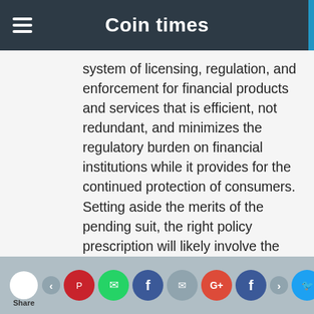Coin times
system of licensing, regulation, and enforcement for financial products and services that is efficient, not redundant, and minimizes the regulatory burden on financial institutions while it provides for the continued protection of consumers. Setting aside the merits of the pending suit, the right policy prescription will likely involve the federal and state governments working together to minimize the regulatory burden while appropriately protecting the safety and soundness of FinTechs and provide necessary consumer protection.
Share